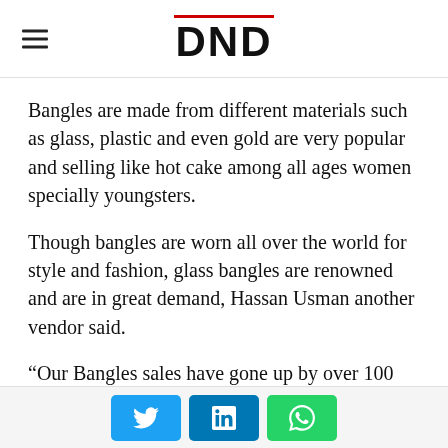DND
Bangles are made from different materials such as glass, plastic and even gold are very popular and selling like hot cake among all ages women specially youngsters.
Though bangles are worn all over the world for style and fashion, glass bangles are renowned and are in great demand, Hassan Usman another vendor said.
“Our Bangles sales have gone up by over 100 per cent